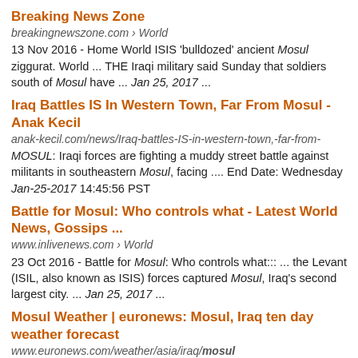Breaking News Zone
breakingnewszone.com › World
13 Nov 2016 - Home World ISIS 'bulldozed' ancient Mosul ziggurat. World ... THE Iraqi military said Sunday that soldiers south of Mosul have ... Jan 25, 2017 ...
Iraq Battles IS In Western Town, Far From Mosul - Anak Kecil
anak-kecil.com/news/Iraq-battles-IS-in-western-town,-far-from-MOSUL: Iraqi forces are fighting a muddy street battle against militants in southeastern Mosul, facing .... End Date: Wednesday Jan-25-2017 14:45:56 PST
Battle for Mosul: Who controls what - Latest World News, Gossips ...
www.inlivenews.com › World
23 Oct 2016 - Battle for Mosul: Who controls what::: ... the Levant (ISIL, also known as ISIS) forces captured Mosul, Iraq's second largest city. ... Jan 25, 2017 ...
Mosul Weather | euronews: Mosul, Iraq ten day weather forecast
www.euronews.com/weather/asia/iraq/mosul
Weather Forecast for Mosul | euronews. previsions for